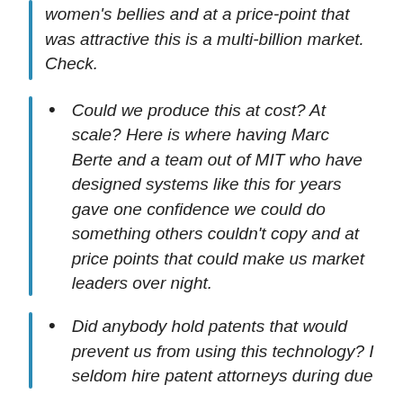women's bellies and at a price-point that was attractive this is a multi-billion market. Check.
Could we produce this at cost? At scale? Here is where having Marc Berte and a team out of MIT who have designed systems like this for years gave one confidence we could do something others couldn't copy and at price points that could make us market leaders over night.
Did anybody hold patents that would prevent us from using this technology? I seldom hire patent attorneys during due